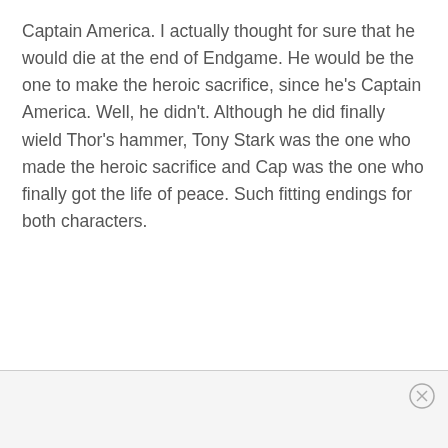Captain America. I actually thought for sure that he would die at the end of Endgame. He would be the one to make the heroic sacrifice, since he's Captain America. Well, he didn't. Although he did finally wield Thor's hammer, Tony Stark was the one who made the heroic sacrifice and Cap was the one who finally got the life of peace. Such fitting endings for both characters.